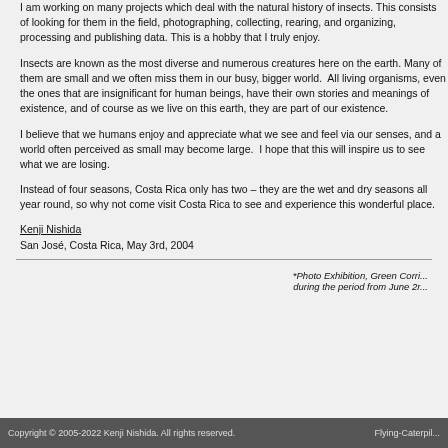I am working on many projects which deal with the natural history of insects. This consists of looking for them in the field, photographing, collecting, rearing, and organizing, processing and publishing data. This is a hobby that I truly enjoy.
Insects are known as the most diverse and numerous creatures here on the earth. Many of them are small and we often miss them in our busy, bigger world. All living organisms, even the ones that are insignificant for human beings, have their own stories and meanings of existence, and of course as we live on this earth, they are part of our existence.
I believe that we humans enjoy and appreciate what we see and feel via our senses, and a world often perceived as small may become large. I hope that this will inspire us to see what we are losing.
Instead of four seasons, Costa Rica only has two – they are the wet and dry seasons all year round, so why not come visit Costa Rica to see and experience this wonderful place.
Kenji Nishida
San José, Costa Rica, May 3rd, 2004
*Photo Exhibition, Green Corri... during the period from June 2r...
Copyright © 2005-2022 Kenji Nishida. All rights reserved.    Flying-Caterpil...